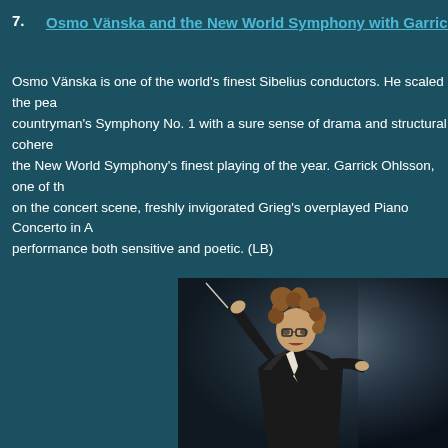7. Osmo Vänska and the New World Symphony with Garrick Ohlsson: Sibelius Symphony No. 1 / Grieg Piano Concerto
Osmo Vänska is one of the world's finest Sibelius conductors. He scaled the peaks of his countryman's Symphony No. 1 with a sure sense of drama and structural coherence, eliciting the New World Symphony's finest playing of the year. Garrick Ohlsson, one of the great Romantics on the concert scene, freshly invigorated Grieg's overplayed Piano Concerto in A minor with a performance both sensitive and poetic. (LB)
[Figure (photo): A conductor with curly hair and glasses, wearing a dark suit, passionately conducting with a baton raised, photographed against a dark background with stage lighting.]